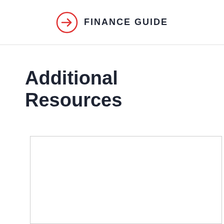FINANCE GUIDE
Additional Resources
[Figure (other): Empty white box with border, placeholder content area]